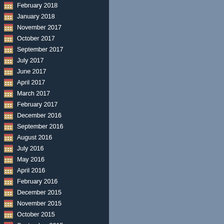February 2018
January 2018
November 2017
October 2017
September 2017
July 2017
June 2017
April 2017
March 2017
February 2017
December 2016
September 2016
August 2016
July 2016
May 2016
April 2016
February 2016
December 2015
November 2015
October 2015
September 2015
August 2015
July 2015